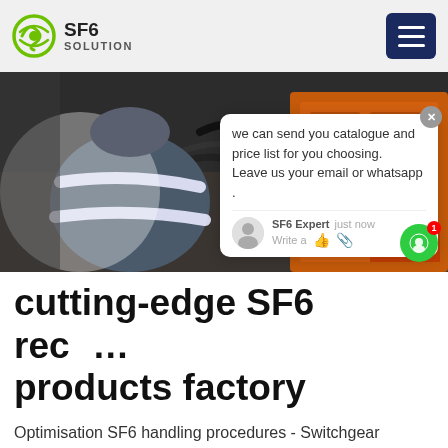SF6 SOLUTION
[Figure (photo): Worker in reflective safety gear crouching next to orange SF6 gas handling equipment with hoses and cables connected, with a chat popup overlay visible]
cutting-edge SF6 recovery products factory
Optimisation SF6 handling procedures - Switchgear Content Gas compartments prefilled with SF6 at a pressure slightly above the atmospheric pressure for transportation. Gas compartments optimised on the minimum SF6 quantity for a given functionality: